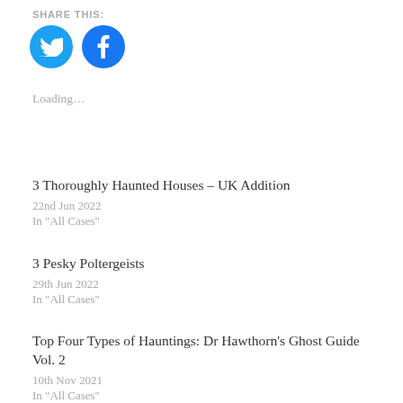SHARE THIS:
[Figure (illustration): Twitter and Facebook social share icon buttons — two blue circles with white Twitter bird and Facebook 'f' logos respectively]
Loading…
3 Thoroughly Haunted Houses – UK Addition
22nd Jun 2022
In "All Cases"
3 Pesky Poltergeists
29th Jun 2022
In "All Cases"
Top Four Types of Hauntings: Dr Hawthorn's Ghost Guide Vol. 2
10th Nov 2021
In "All Cases"